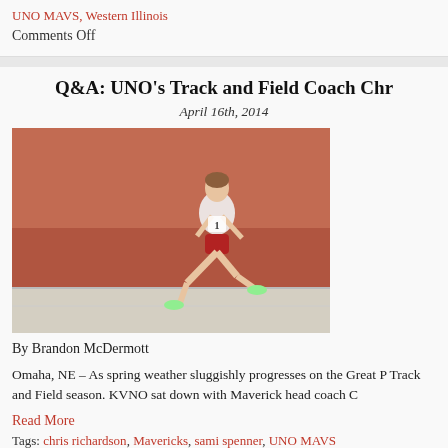UNO MAVS, Western Illinois
Comments Off
Q&A: UNO's Track and Field Coach Chr
April 16th, 2014
[Figure (photo): Female runner in white top and red shorts running on an indoor track, number 1 bib visible]
By Brandon McDermott
Omaha, NE – As spring weather sluggishly progresses on the Great P Track and Field season. KVNO sat down with Maverick head coach C
Read More
Tags: chris richardson, Mavericks, sami spenner, UNO MAVS
Comments Off